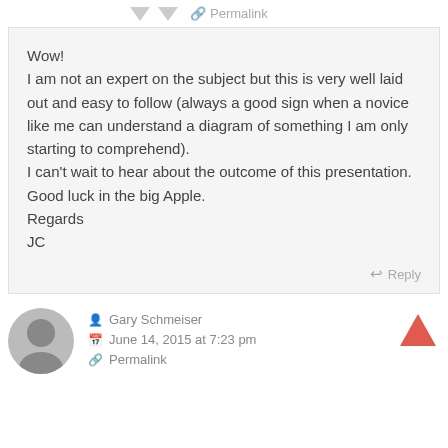Permalink
Wow!
I am not an expert on the subject but this is very well laid out and easy to follow (always a good sign when a novice like me can understand a diagram of something I am only starting to comprehend).
I can't wait to hear about the outcome of this presentation.
Good luck in the big Apple.
Regards
JC
Reply
Gary Schmeiser
June 14, 2015 at 7:23 pm
Permalink